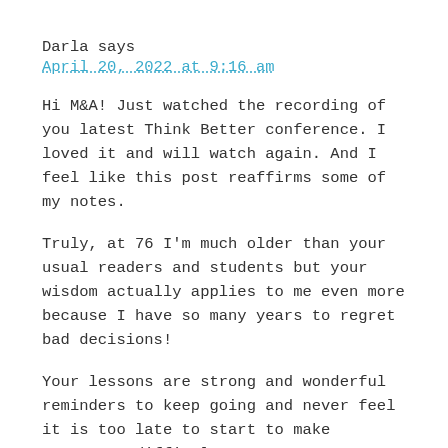Darla says
April 20, 2022 at 9:16 am
Hi M&A! Just watched the recording of you latest Think Better conference. I loved it and will watch again. And I feel like this post reaffirms some of my notes.
Truly, at 76 I'm much older than your usual readers and students but your wisdom actually applies to me even more because I have so many years to regret bad decisions!
Your lessons are strong and wonderful reminders to keep going and never feel it is too late to start to make necessary difficult